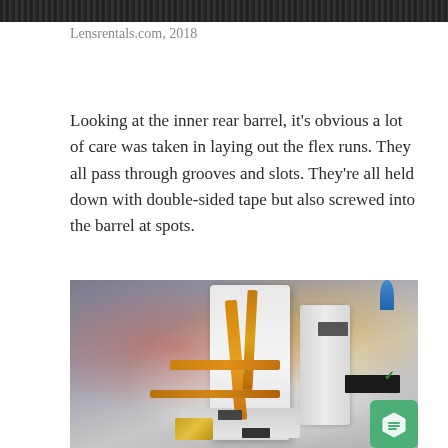[Figure (photo): Top strip of a close-up photo of camera lens interior components (dark striped pattern)]
Lensrentals.com, 2018
Looking at the inner rear barrel, it's obvious a lot of care was taken in laying out the flex runs. They all pass through grooves and slots. They're all held down with double-sided tape but also screwed into the barrel at spots.
[Figure (photo): Close-up photo of a disassembled camera lens inner rear barrel showing amber/gold flexible ribbon cables routed through white plastic/metal barrel components, with various connectors and chips visible]